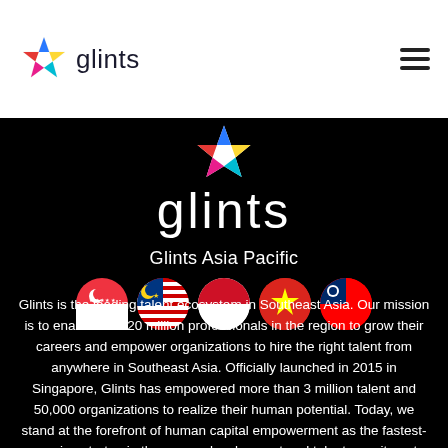[Figure (logo): Glints logo with star icon and text 'glints' in top navigation bar]
[Figure (logo): Glints logo (large, white) with colorful star icon on black background]
Glints Asia Pacific
[Figure (illustration): Row of five circular country flag icons: Singapore, Malaysia, Indonesia, Vietnam, Taiwan]
Glints is the leading talent ecosystem in Southeast Asia. Our mission is to enable the 120 million professionals in the region to grow their careers and empower organizations to hire the right talent from anywhere in Southeast Asia. Officially launched in 2015 in Singapore, Glints has empowered more than 3 million talent and 50,000 organizations to realize their human potential. Today, we stand at the forefront of human capital empowerment as the fastest-growing startup in the career development and talent recruitment space. Glints currently operates in Indonesia, Malaysia, Singapore, Vietnam, Philippines,